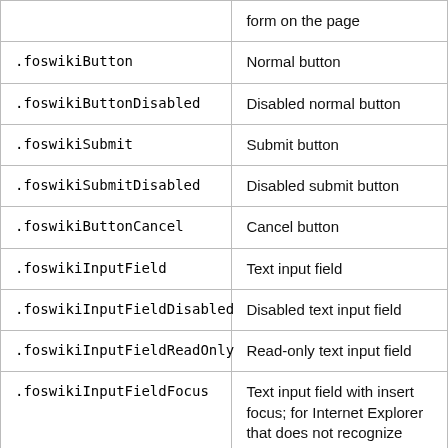| CSS class | Description |
| --- | --- |
| (partial - form on the page) |  |
| .foswikiButton | Normal button |
| .foswikiButtonDisabled | Disabled normal button |
| .foswikiSubmit | Submit button |
| .foswikiSubmitDisabled | Disabled submit button |
| .foswikiButtonCancel | Cancel button |
| .foswikiInputField | Text input field |
| .foswikiInputFieldDisabled | Disabled text input field |
| .foswikiInputFieldReadOnly | Read-only text input field |
| .foswikiInputFieldFocus | Text input field with insert focus; for Internet Explorer that does not recognize |